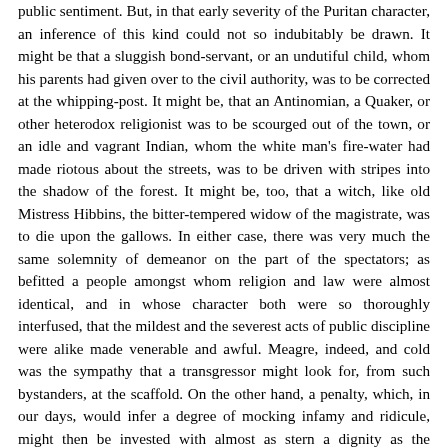public sentiment. But, in that early severity of the Puritan character, an inference of this kind could not so indubitably be drawn. It might be that a sluggish bond-servant, or an undutiful child, whom his parents had given over to the civil authority, was to be corrected at the whipping-post. It might be, that an Antinomian, a Quaker, or other heterodox religionist was to be scourged out of the town, or an idle and vagrant Indian, whom the white man's fire-water had made riotous about the streets, was to be driven with stripes into the shadow of the forest. It might be, too, that a witch, like old Mistress Hibbins, the bitter-tempered widow of the magistrate, was to die upon the gallows. In either case, there was very much the same solemnity of demeanor on the part of the spectators; as befitted a people amongst whom religion and law were almost identical, and in whose character both were so thoroughly interfused, that the mildest and the severest acts of public discipline were alike made venerable and awful. Meagre, indeed, and cold was the sympathy that a transgressor might look for, from such bystanders, at the scaffold. On the other hand, a penalty, which, in our days, would infer a degree of mocking infamy and ridicule, might then be invested with almost as stern a dignity as the punishment of death itself.